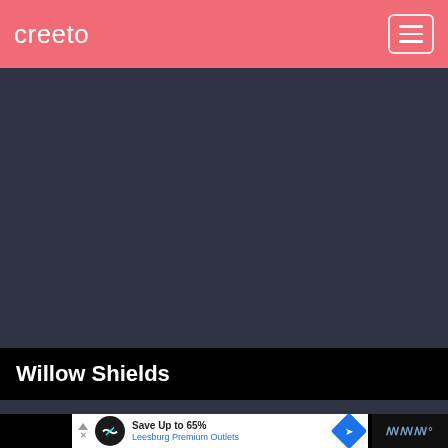creeto
[Figure (screenshot): Dark blue-gray main content area, blank]
Willow Shields
[Figure (screenshot): Advertisement banner: Save Up to 65% Leesburg Premium Outlets with circular logo and navigation arrow icon]